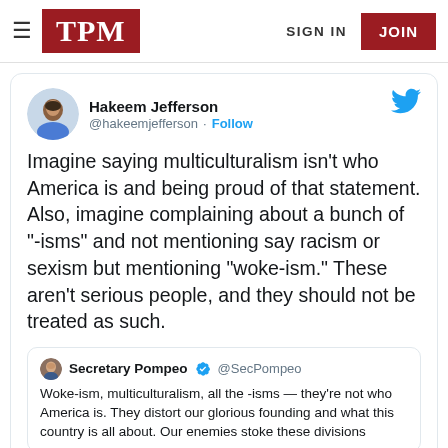TPM — SIGN IN | JOIN
[Figure (screenshot): Tweet from Hakeem Jefferson (@hakeemjefferson): Imagine saying multiculturalism isn't who America is and being proud of that statement. Also, imagine complaining about a bunch of "-isms" and not mentioning say racism or sexism but mentioning "woke-ism." These aren't serious people, and they should not be treated as such. — Quoting Secretary Pompeo (@SecPompeo): Woke-ism, multiculturalism, all the -isms — they're not who America is. They distort our glorious founding and what this country is all about. Our enemies stoke these divisions]